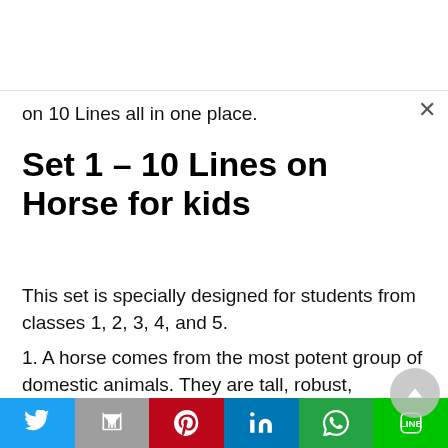on 10 Lines all in one place.
Set 1 – 10 Lines on Horse for kids
This set is specially designed for students from classes 1, 2, 3, 4, and 5.
1. A horse comes from the most potent group of domestic animals. They are tall, robust,
[Figure (other): Social sharing buttons bar: Twitter (blue), Gmail (gray), Pinterest (red), LinkedIn (blue), WhatsApp (green), LINE (green)]